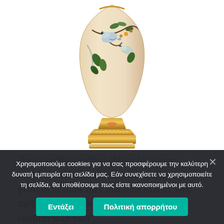[Figure (photo): A decorative porcelain vase with birds and floral painted design on the body, gold ornamental base with pedestal foot, cream/blush colored background on the vase surface.]
Zoosk verifies each visibility by asking members add videos selfie along with their pictures to show they might be exactly who they claim these are typically! You may confirm with your
Χρησιμοποιούμε cookies για να σας προσφέρουμε την καλύτερη δυνατή εμπειρία στη σελίδα μας. Εάν συνεχίσετε να χρησιμοποιείτε τη σελίδα, θα υποθέσουμε πως είστε ικανοποιημένοι με αυτό.
Εντάξει
Πολιτική απορρήτου